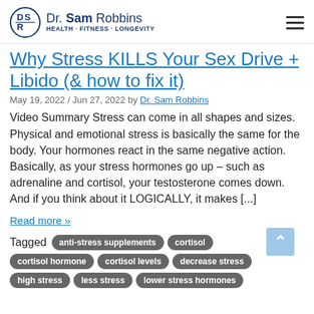Dr. Sam Robbins — HEALTH · FITNESS · LONGEVITY
Why Stress KILLS Your Sex Drive + Libido (& how to fix it)
May 19, 2022 / Jun 27, 2022 by Dr. Sam Robbins
Video Summary Stress can come in all shapes and sizes. Physical and emotional stress is basically the same for the body. Your hormones react in the same negative action. Basically, as your stress hormones go up – such as adrenaline and cortisol, your testosterone comes down. And if you think about it LOGICALLY, it makes [...]
Read more »
Tagged anti-stress supplements cortisol cortisol hormone cortisol levels decrease stress high stress less stress lower stress hormones